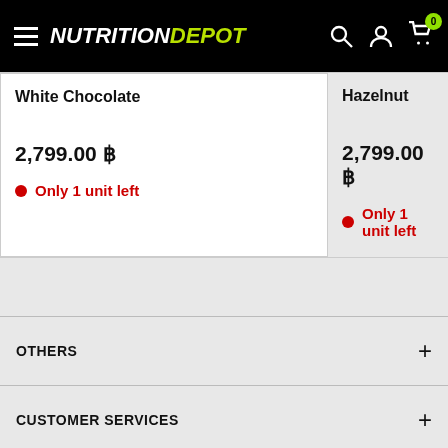NUTRITIONDEPOT
| White Chocolate | Hazelnut |
| --- | --- |
| 2,799.00 ฿
Only 1 unit left | 2,799.00 ฿
Only 1 unit left |
OTHERS +
CUSTOMER SERVICES +